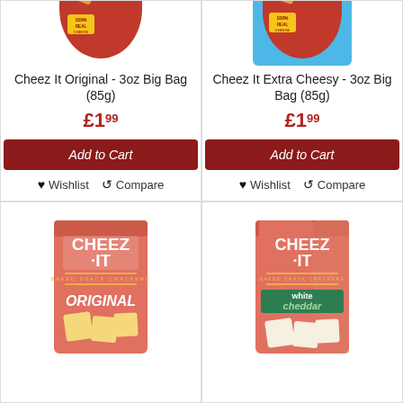[Figure (photo): Cheez It Original 3oz Big Bag (85g) - red bag with crackers]
Cheez It Original - 3oz Big Bag (85g)
£1.99
Add to Cart
♥ Wishlist  ⇄ Compare
[Figure (photo): Cheez It Extra Cheesy 3oz Big Bag (85g) - red bag on blue background]
Cheez It Extra Cheesy - 3oz Big Bag (85g)
£1.99
Add to Cart
♥ Wishlist  ⇄ Compare
[Figure (photo): Cheez-It Original box - pink/salmon colored box with white Cheez-It logo and ORIGINAL text]
[Figure (photo): Cheez-It White Cheddar box - pink/salmon colored box with white Cheez-It logo and white cheddar text on green banner]